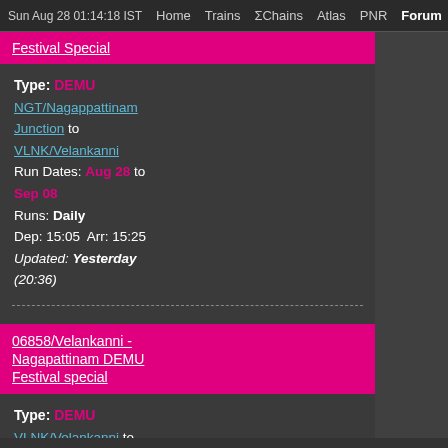Sun Aug 28 01:14:18 IST   Home   Trains   ΣChains   Atlas   PNR   Forum   Quiz R
Festival Special
Type: DEMU
NGT/Nagappattinam Junction to VLNK/Velankanni
Run Dates: Aug 28 to Sep 08
Runs: Daily
Dep: 15:05  Arr: 15:25
Updated: Yesterday (20:36)
06858/Velankanni - Nagapattinam DEMU Festival special
Type: DEMU
VLNK/Velankanni to NGT/Nagappattinam Junction
Run Dates: Aug 28 to Sep 08
Runs: Daily
Dep: 12:40  Arr: 13:00